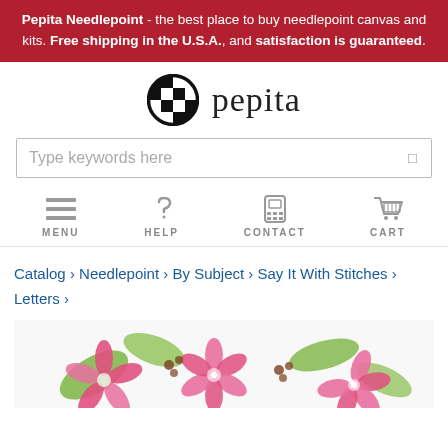Pepita Needlepoint - the best place to buy needlepoint canvas and kits. Free shipping in the U.S.A., and satisfaction is guaranteed.
[Figure (logo): Pepita Needlepoint logo with checkered circle icon and 'pepita' text]
Type keywords here
[Figure (infographic): Navigation icons: MENU (hamburger), HELP (question mark), CONTACT (phone), CART (shopping cart)]
Catalog › Needlepoint › By Subject › Say It With Stitches › Letters ›
[Figure (photo): Needlepoint canvas with floral design showing pink and green flowers]